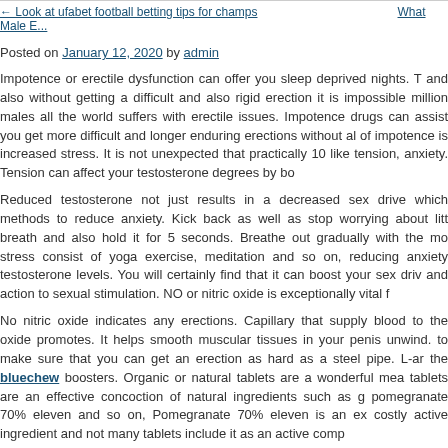← Look at ufabet football betting tips for champs   What Male E...
Posted on January 12, 2020 by admin
Impotence or erectile dysfunction can offer you sleep deprived nights. T and also without getting a difficult and also rigid erection it is impossible million males all the world suffers with erectile issues. Impotence drugs can assist you get more difficult and longer enduring erections without al of impotence is increased stress. It is not unexpected that practically 10 like tension, anxiety. Tension can affect your testosterone degrees by bo
Reduced testosterone not just results in a decreased sex drive which methods to reduce anxiety. Kick back as well as stop worrying about litt breath and also hold it for 5 seconds. Breathe out gradually with the mo stress consist of yoga exercise, meditation and so on, reducing anxiety testosterone levels. You will certainly find that it can boost your sex driv and action to sexual stimulation. NO or nitric oxide is exceptionally vital f
No nitric oxide indicates any erections. Capillary that supply blood to the oxide promotes. It helps smooth muscular tissues in your penis unwind. to make sure that you can get an erection as hard as a steel pipe. L-ar the bluechew boosters. Organic or natural tablets are a wonderful mea tablets are an effective concoction of natural ingredients such as g pomegranate 70% eleven and so on, Pomegranate 70% eleven is an ex costly active ingredient and not many tablets include it as an active comp
← Look at ufabet football betting tips for champs